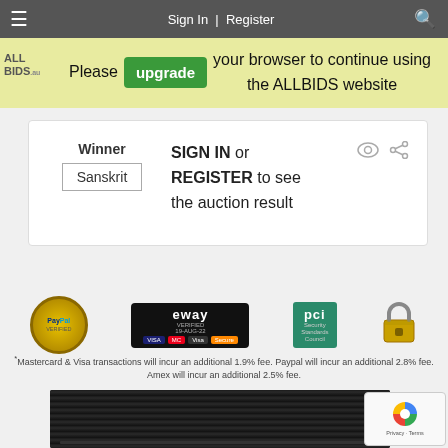Your browser, iOS 11, is no longer supported by us.
Please upgrade your browser to continue using the ALLBIDS website
Winner
Sanskrit
SIGN IN or REGISTER to see the auction result
[Figure (infographic): Payment logos row: PayPal Verified, eWAY Verified 19-AUG-22 with card logos, PCI Security Standards Council, padlock icon]
*Mastercard & Visa transactions will incur an additional 1.9% fee. Paypal will incur an additional 2.8% fee. Amex will incur an additional 2.5% fee.
[Figure (photo): Dark computer tower/case product photo]